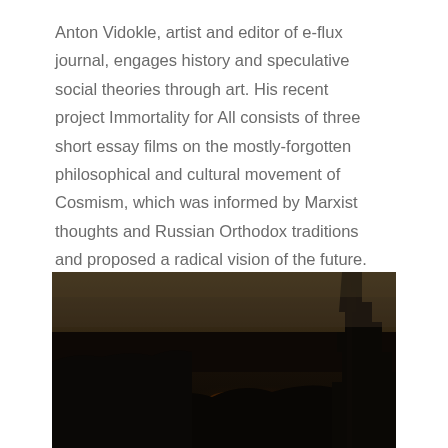Anton Vidokle, artist and editor of e-flux journal, engages history and speculative social theories through art. His recent project Immortality for All consists of three short essay films on the mostly-forgotten philosophical and cultural movement of Cosmism, which was informed by Marxist thoughts and Russian Orthodox traditions and proposed a radical vision of the future.
[Figure (photo): Dark, low-light photograph of a landscape at night or dusk, showing what appears to be a fire or burning scene with orange-red glowing embers/flames visible in the lower-center area, silhouetted trees on the right, and a dark sky above.]